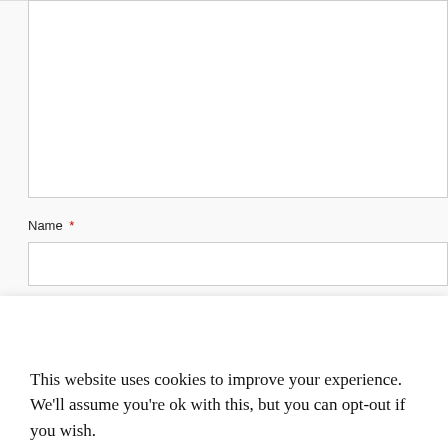Name *
[Figure (screenshot): Web form showing a large textarea at top, a Name required field with text input below it, and a POST COMMENT button. A cookie consent banner overlays the lower portion of the form with text 'This website uses cookies to improve your experience. We'll assume you're ok with this, but you can opt-out if you wish.' and two buttons: 'Cookie settings' (green text) and 'ACCEPT' (black button).]
This website uses cookies to improve your experience. We'll assume you're ok with this, but you can opt-out if you wish.
Cookie settings
ACCEPT
POST COMMENT